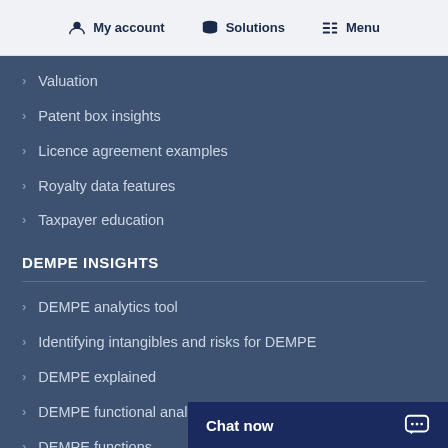My account  Solutions  Menu
Valuation
Patent box insights
Licence agreement examples
Royalty data features
Taxpayer education
DEMPE INSIGHTS
DEMPE analytics tool
Identifying intangibles and risks for DEMPE
DEMPE explained
DEMPE functional analysis
DEMPE functions